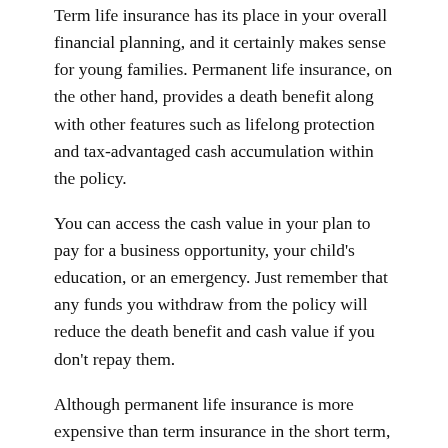Term life insurance has its place in your overall financial planning, and it certainly makes sense for young families. Permanent life insurance, on the other hand, provides a death benefit along with other features such as lifelong protection and tax-advantaged cash accumulation within the policy.
You can access the cash value in your plan to pay for a business opportunity, your child's education, or an emergency. Just remember that any funds you withdraw from the policy will reduce the death benefit and cash value if you don't repay them.
Although permanent life insurance is more expensive than term insurance in the short term, there are long-term cost advantages to permanent coverage. So, you might consider buying a term policy with a large face amount, which gives you the immediate protection you need, and combine it with a smaller permanent policy.
We'll Help You Find the Best Life Insurance at the Best Price